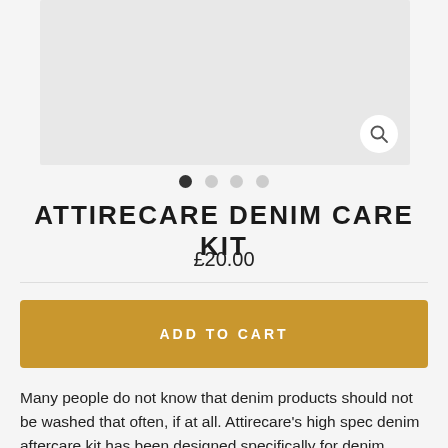[Figure (photo): Product image placeholder — light grey rectangle with a magnifying glass/zoom icon button in the bottom right corner]
• • • •  (pagination dots, first filled)
ATTIRECARE DENIM CARE KIT
£20.00
ADD TO CART
Many people do not know that denim products should not be washed that often, if at all. Attirecare's high spec denim aftercare kit has been designed specifically for denim